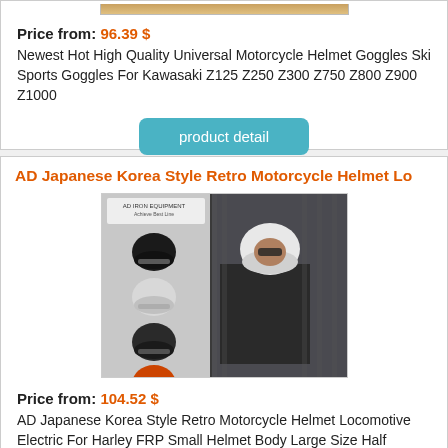[Figure (photo): Partial product image strip at top of first card (motorcycle helmet goggles, partially visible)]
Price from: 96.39 $
Newest Hot High Quality Universal Motorcycle Helmet Goggles Ski Sports Goggles For Kawasaki Z125 Z250 Z300 Z750 Z800 Z900 Z1000
product detail
AD Japanese Korea Style Retro Motorcycle Helmet Lo
[Figure (photo): Product image showing multiple motorcycle helmets in black, white, and grey colors, along with a person wearing a white half helmet on a motorcycle]
Price from: 104.52 $
AD Japanese Korea Style Retro Motorcycle Helmet Locomotive Electric For Harley FRP Small Helmet Body Large Size Half